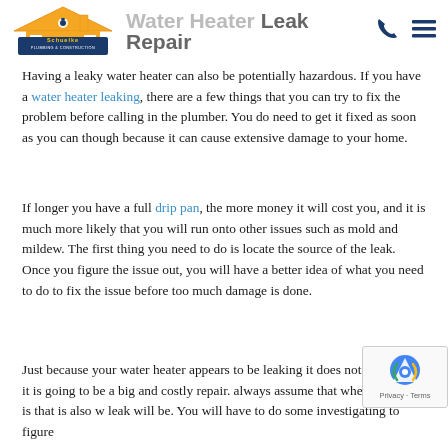Water Heater Leak Repair — Schuelke Plumbing & Construction
Having a leaky water heater can also be potentially hazardous. If you have a water heater leaking, there are a few things that you can try to fix the problem before calling in the plumber. You do need to get it fixed as soon as you can though because it can cause extensive damage to your home.
If longer you have a full drip pan, the more money it will cost you, and it is much more likely that you will run onto other issues such as mold and mildew. The first thing you need to do is locate the source of the leak. Once you figure the issue out, you will have a better idea of what you need to do to fix the issue before too much damage is done.
Just because your water heater appears to be leaking it does not mean that it is going to be a big and costly repair. always assume that where the water is that is also w... leak will be. You will have to do some investigating to figure...